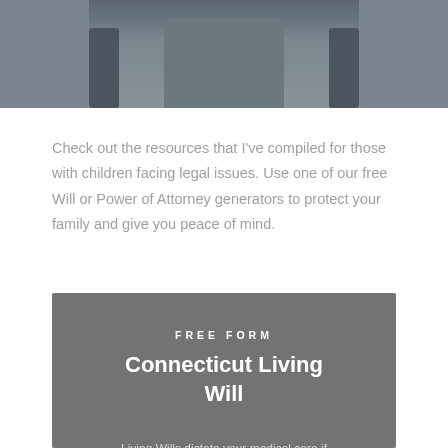[Figure (photo): Partial photo of a woman seated in a chair, cropped at the top of the page]
Check out the resources that I've compiled for those with children facing legal issues. Use one of our free Will or Power of Attorney generators to protect your family and give you peace of mind.
FREE FORM
Connecticut Living Will
Living Wills dictate your medical care if